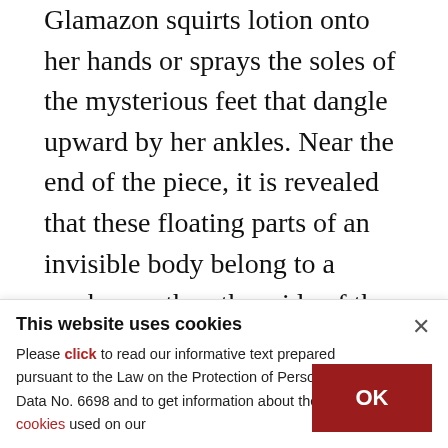Glamazon squirts lotion onto her hands or sprays the soles of the mysterious feet that dangle upward by her ankles. Near the end of the piece, it is revealed that these floating parts of an invisible body belong to a worker on the other side of the reality divide. Underground, a Chinese woman revolves a fan contraption that causes Glamazon to sneeze over a bouquet.

There is an unsettling ambiance of abstraction, of absurdity, emphasized by split segments of clouded
This website uses cookies

Please click to read our informative text prepared pursuant to the Law on the Protection of Personal Data No. 6698 and to get information about the cookies used on our